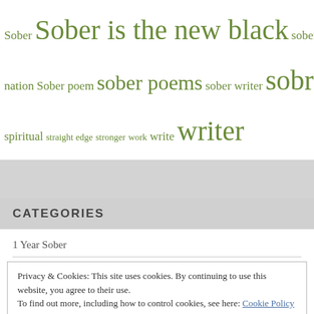[Figure (infographic): Tag cloud with green-colored tags of varying sizes including: Sober, Sober is the new black, sober, nation, Sober poem, sober poems, sober writer, sobriety, soul, spiritual, straight edge, stronger, work, write, writer]
CATEGORIES
1 Year Sober
Privacy & Cookies: This site uses cookies. By continuing to use this website, you agree to their use. To find out more, including how to control cookies, see here: Cookie Policy
11 Months Sober